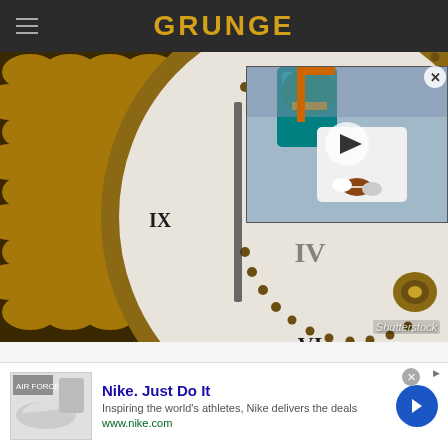GRUNGE
[Figure (photo): Close-up of an ornate antique clock face with golden decorative border and Roman numerals, with a video overlay thumbnail showing a football player catching/diving for a ball]
It's hard to imagine living in a world where the Sun is the only measure of time. No modern person ever looks up at
[Figure (infographic): Advertisement banner: Nike. Just Do It. Inspiring the world's athletes, Nike delivers the deals. www.nike.com]